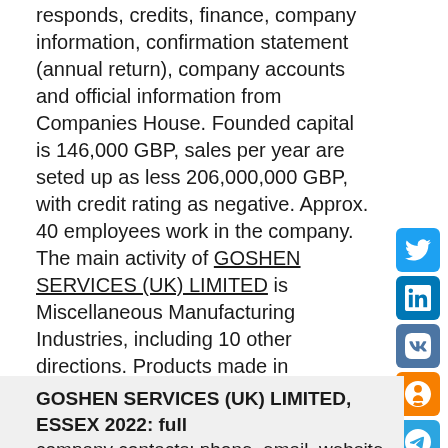responds, credits, finance, company information, confirmation statement (annual return), company accounts and official information from Companies House. Founded capital is 146,000 GBP, sales per year are seted up as less 206,000,000 GBP, with credit rating as negative. Approx. 40 employees work in the company.
The main activity of GOSHEN SERVICES (UK) LIMITED is Miscellaneous Manufacturing Industries, including 10 other directions. Products made in GOSHEN SERVICES (UK) LIMITED are not found. Its contact method and company information is as below. Information about owner, director or manager of GOSHEN SERVICES (UK) LIMITED is not found. You can also view reviews of GOSHEN SERVICES (UK) LIMITED, open vacancies, location of GOSHEN SERVICES (UK) LIMITED on the map. In total the company use 0 trading names. For more information visit the site or send request using contact data. Company has finished activity at 23/11/2010
GOSHEN SERVICES (UK) LIMITED, ESSEX 2022: full company contacts: phone, email, website, address